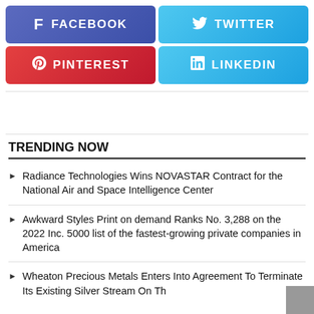[Figure (infographic): Social share buttons: Facebook (dark blue-purple), Twitter (light blue), Pinterest (red), LinkedIn (light blue)]
TRENDING NOW
Radiance Technologies Wins NOVASTAR Contract for the National Air and Space Intelligence Center
Awkward Styles Print on demand Ranks No. 3,288 on the 2022 Inc. 5000 list of the fastest-growing private companies in America
Wheaton Precious Metals Enters Into Agreement To Terminate Its Existing Silver Stream On The...